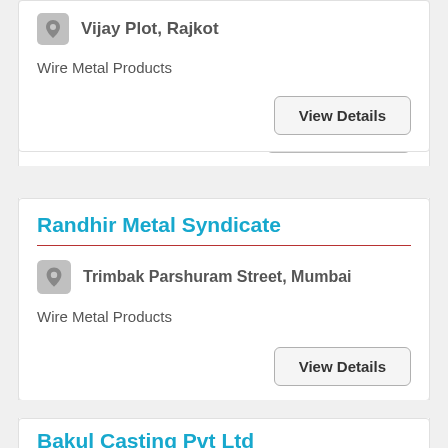Vijay Plot, Rajkot
Wire Metal Products
View Details
Randhir Metal Syndicate
Trimbak Parshuram Street, Mumbai
Wire Metal Products
View Details
Bakul Casting Pvt Ltd